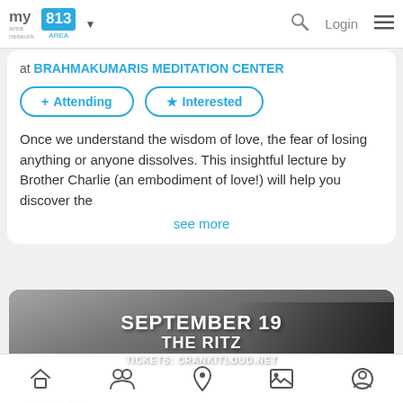myarea network | 813 AREA | Login
at BRAHMAKUMARIS MEDITATION CENTER
+ Attending   ★ Interested
Once we understand the wisdom of love, the fear of losing anything or anyone dissolves. This insightful lecture by Brother Charlie (an embodiment of love!) will help you discover the
see more
[Figure (photo): Black and white concert event banner for The Ritz on September 19, featuring Special Guest MOD★SUN. Tickets at CRANKITLOUD.NET. A person lies on the ground in the lower right portion of the image.]
Home | People | Location | Gallery | Profile